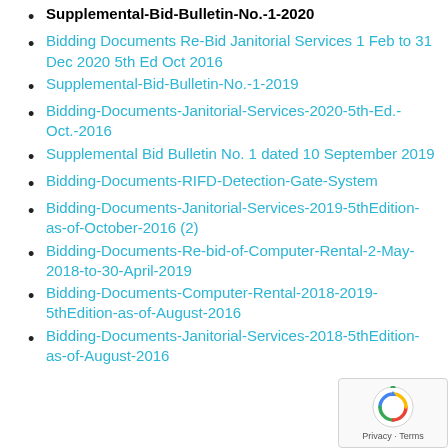Supplemental-Bid-Bulletin-No.-1-2020
Bidding Documents Re-Bid Janitorial Services 1 Feb to 31 Dec 2020 5th Ed Oct 2016
Supplemental-Bid-Bulletin-No.-1-2019
Bidding-Documents-Janitorial-Services-2020-5th-Ed.-Oct.-2016
Supplemental Bid Bulletin No. 1 dated 10 September 2019
Bidding-Documents-RIFD-Detection-Gate-System
Bidding-Documents-Janitorial-Services-2019-5thEdition-as-of-October-2016 (2)
Bidding-Documents-Re-bid-of-Computer-Rental-2-May-2018-to-30-April-2019
Bidding-Documents-Computer-Rental-2018-2019-5thEdition-as-of-August-2016
Bidding-Documents-Janitorial-Services-2018-5thEdition-as-of-August-2016